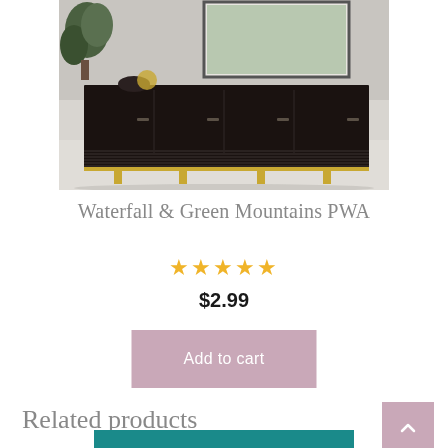[Figure (photo): Dark wood modern TV console/sideboard with horizontal ribbed detail on base and gold metal legs, displayed in a room with a plant, decorative bowl, and framed artwork on the wall]
Waterfall & Green Mountains PWA
★★★★★
$2.99
Add to cart
Related products